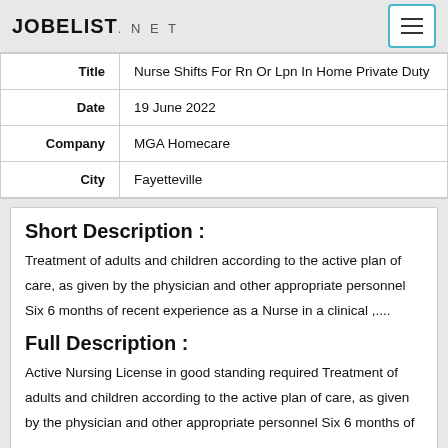JOBELIST.NET
| Label | Value |
| --- | --- |
| Title | Nurse Shifts For Rn Or Lpn In Home Private Duty |
| Date | 19 June 2022 |
| Company | MGA Homecare |
| City | Fayetteville |
Short Description :
Treatment of adults and children according to the active plan of care, as given by the physician and other appropriate personnel Six 6 months of recent experience as a Nurse in a clinical ,....
Full Description :
Active Nursing License in good standing required Treatment of adults and children according to the active plan of care, as given by the physician and other appropriate personnel Six 6 months of